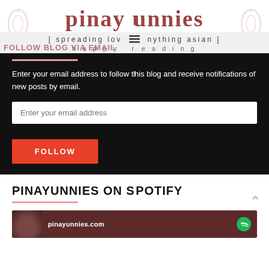pinay unnies
[ spreading lov ≡ nything asian ] happy reading
FOLLOW BLOG VIA EMAIL
Enter your email address to follow this blog and receive notifications of new posts by email.
Enter your email address
FOLLOW
PINAYUNNIES ON SPOTIFY
pinayunnies.com